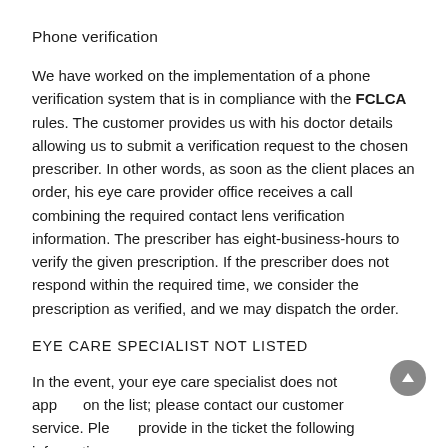Phone verification
We have worked on the implementation of a phone verification system that is in compliance with the FCLCA rules. The customer provides us with his doctor details allowing us to submit a verification request to the chosen prescriber. In other words, as soon as the client places an order, his eye care provider office receives a call combining the required contact lens verification information. The prescriber has eight-business-hours to verify the given prescription. If the prescriber does not respond within the required time, we consider the prescription as verified, and we may dispatch the order.
EYE CARE SPECIALIST NOT LISTED
In the event, your eye care specialist does not appear on the list; please contact our customer service. Please provide in the ticket the following information.